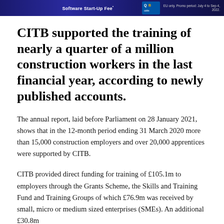[Figure (other): Blue banner advertisement with text 'Software Start-Up Fee' and a logo, with small print on the right about EU only promotion period July 4 to Sep 4, 2022.]
CITB supported the training of nearly a quarter of a million construction workers in the last financial year, according to newly published accounts.
The annual report, laid before Parliament on 28 January 2021, shows that in the 12-month period ending 31 March 2020 more than 15,000 construction employers and over 20,000 apprentices were supported by CITB.
CITB provided direct funding for training of £105.1m to employers through the Grants Scheme, the Skills and Training Fund and Training Groups of which £76.9m was received by small, micro or medium sized enterprises (SMEs). An additional £30.8m...